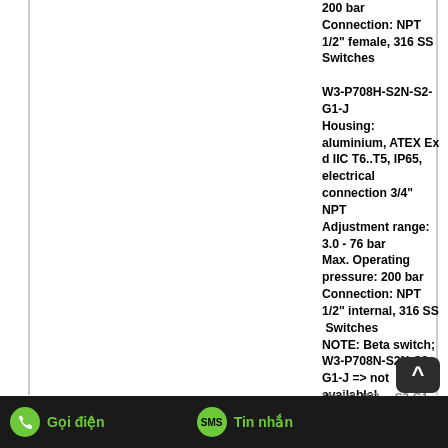200 bar
Connection: NPT 1/2" female, 316 SS
Switches

W3-P708H-S2N-S2-G1-J
Housing: aluminium, ATEX Ex d IIC T6..T5, IP65, electrical connection 3/4" NPT
Adjustment range: 3.0 - 76 bar
Max. Operating pressure: 200 bar
Connection: NPT 1/2" internal, 316 SS
Switches
NOTE: Beta switch; W3-P708N-S2N-S2-G1-J => not available!
Model: W3-...S2-G1-J
100% EU Origin
Beta-B Vietnam
Gọi điện   Tin nhắn